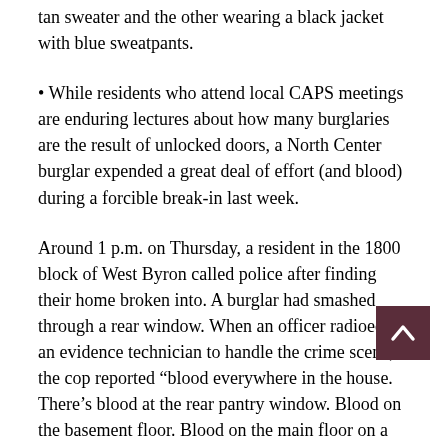tan sweater and the other wearing a black jacket with blue sweatpants.
• While residents who attend local CAPS meetings are enduring lectures about how many burglaries are the result of unlocked doors, a North Center burglar expended a great deal of effort (and blood) during a forcible break-in last week.
Around 1 p.m. on Thursday, a resident in the 1800 block of West Byron called police after finding their home broken into. A burglar had smashed through a rear window. When an officer radioed for an evidence technician to handle the crime scene, the cop reported “blood everywhere in the house. There’s blood at the rear pantry window. Blood on the basement floor. Blood on the main floor on a filing cabinet. Blood in the bedroom. Also blood on the rear basement door.”
You can support CWB’s newsgathering efforts with a donation to our Tip Jar.